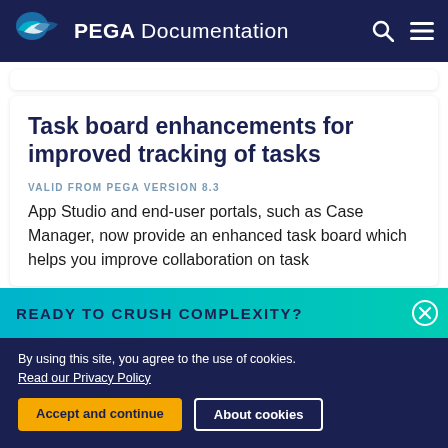PEGA Documentation
Task board enhancements for improved tracking of tasks
VALID FROM PEGA VERSION 8.3
App Studio and end-user portals, such as Case Manager, now provide an enhanced task board which helps you improve collaboration on task
READY TO CRUSH COMPLEXITY?
By using this site, you agree to the use of cookies. Read our Privacy Policy
Accept and continue
About cookies